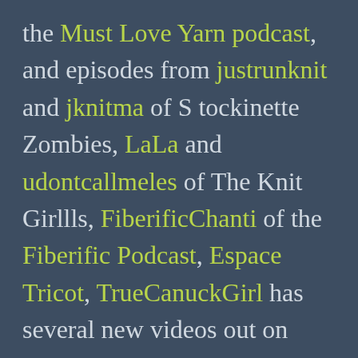the Must Love Yarn podcast, and episodes from justrunknit and jknitma of Stockinette Zombies, LaLa and udontcallmeles of The Knit Girllls, FiberificChanti of the Fiberific Podcast, Espace Tricot, TrueCanuckGirl has several new videos out on